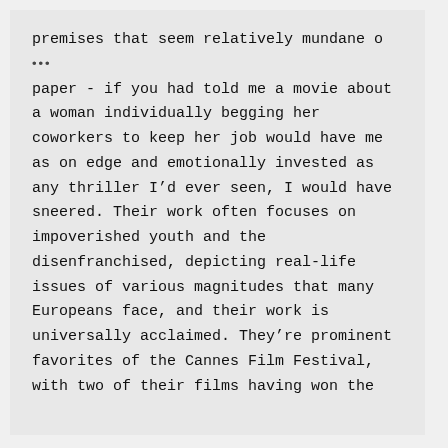premises that seem relatively mundane o… paper - if you had told me a movie about a woman individually begging her coworkers to keep her job would have me as on edge and emotionally invested as any thriller I'd ever seen, I would have sneered. Their work often focuses on impoverished youth and the disenfranchised, depicting real-life issues of various magnitudes that many Europeans face, and their work is universally acclaimed. They're prominent favorites of the Cannes Film Festival, with two of their films having won the